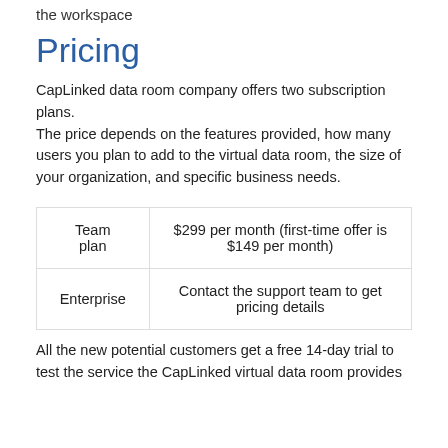the workspace
Pricing
CapLinked data room company offers two subscription plans.
The price depends on the features provided, how many users you plan to add to the virtual data room, the size of your organization, and specific business needs.
| Plan | Price |
| --- | --- |
| Team plan | $299 per month (first-time offer is $149 per month) |
| Enterprise | Contact the support team to get pricing details |
All the new potential customers get a free 14-day trial to test the service the CapLinked virtual data room provides